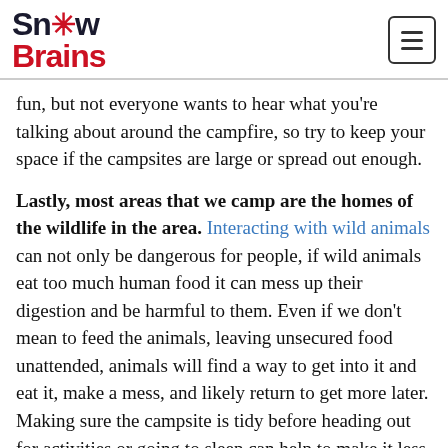SnowBrains
fun, but not everyone wants to hear what you're talking about around the campfire, so try to keep your space if the campsites are large or spread out enough.
Lastly, most areas that we camp are the homes of the wildlife in the area. Interacting with wild animals can not only be dangerous for people, if wild animals eat too much human food it can mess up their digestion and be harmful to them. Even if we don't mean to feed the animals, leaving unsecured food unattended, animals will find a way to get into it and eat it, make a mess, and likely return to get more later. Making sure the campsite is tidy before heading out for activities or going to sleep can help to make it less appealing for animals to mess with. With campsites filling up, wild animals will be smelling food and coming to investigate, so being prepared for this to happen will make sure